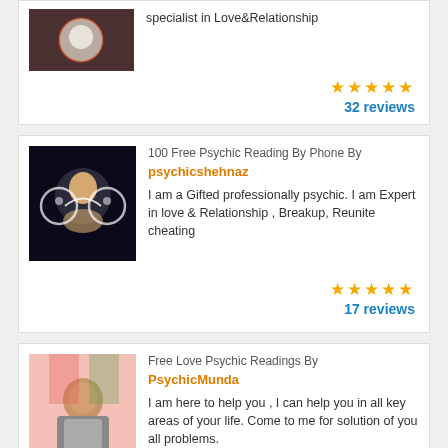specialist in Love&Relationship
32 reviews
100 Free Psychic Reading By Phone By psychicshehnaz
I am a Gifted professionally psychic. I am Expert in love & Relationship , Breakup, Reunite cheating
17 reviews
Free Love Psychic Readings By PsychicMunda
I am here to help you , I can help you in all key areas of your life. Come to me for solution of you all problems.